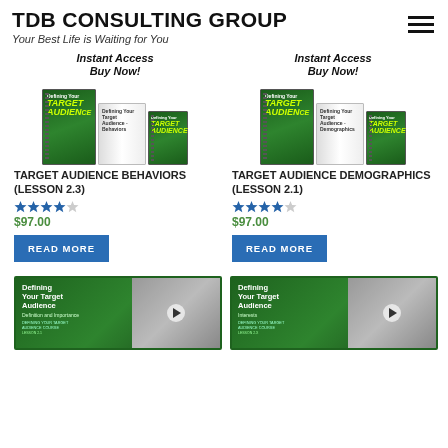TDB CONSULTING GROUP
Your Best Life is Waiting for You
[Figure (illustration): Book bundle with green covers showing 'TARGET AUDIENCE BEHAVIORS' workbooks with 'Instant Access Buy Now!' label]
TARGET AUDIENCE BEHAVIORS (LESSON 2.3)
★★★★☆ $97.00
READ MORE
[Figure (illustration): Book bundle with green covers showing 'TARGET AUDIENCE DEMOGRAPHICS' workbooks with 'Instant Access Buy Now!' label]
TARGET AUDIENCE DEMOGRAPHICS (LESSON 2.1)
★★★★☆ $97.00
READ MORE
[Figure (screenshot): Video thumbnail for 'Defining Your Target Audience - Definition and Importance' course lesson]
[Figure (screenshot): Video thumbnail for 'Defining Your Target Audience - Interests' course lesson]